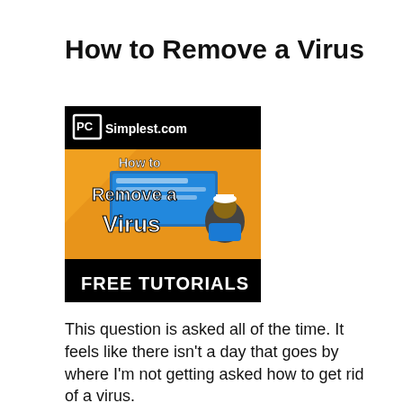How to Remove a Virus
[Figure (screenshot): Thumbnail image from PCSimplest.com showing 'How to Remove a Virus FREE TUTORIALS' with a person and computer desktop in the background, orange and black color scheme.]
This question is asked all of the time. It feels like there isn’t a day that goes by where I’m not getting asked how to get rid of a virus.